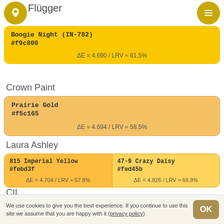Flügger
[Figure (infographic): Flügger brand color swatch: Boogie Night (IN-782), hex #f9c800, ΔE=4.690 / LRV≈61.5%]
Crown Paint
[Figure (infographic): Crown Paint color swatch: Prairie Gold, hex #f5c165, ΔE=4.694 / LRV≈58.5%]
Laura Ashley
[Figure (infographic): Laura Ashley color swatches: 815 Imperial Yellow #febd3f ΔE=4.704/LRV≈57.8% and 47-9 Crazy Daisy #fed45b ΔE=4.826/LRV≈68.9%]
CIL
[Figure (infographic): CIL color swatches: Sun Rays #fdcc6c and Sundrenched #fdd45b]
We use cookies to give you the best experience. If you continue to use this site we assume that you are happy with it (privacy policy)